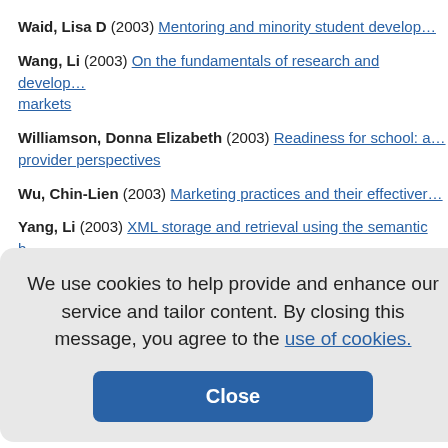Waid, Lisa D (2003) Mentoring and minority student develop…
Wang, Li (2003) On the fundamentals of research and develop… markets
Williamson, Donna Elizabeth (2003) Readiness for school: … provider perspectives
Wu, Chin-Lien (2003) Marketing practices and their effectiver…
Yang, Li (2003) XML storage and retrieval using the semantic b… (SEM-ODB)
Yuan, Young (2003) Perceptions regarding intercollegiate alli… technological higher education institutions
Zendegui, Ileana C (2003) Entre el terror y la irrealidad: La n… Arenas
We use cookies to help provide and enhance our service and tailor content. By closing this message, you agree to the use of cookies.
Close